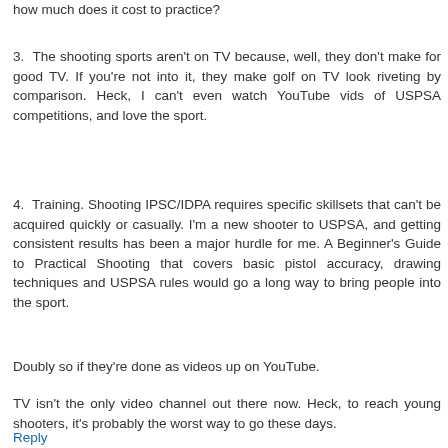how much does it cost to practice?
3. The shooting sports aren't on TV because, well, they don't make for good TV. If you're not into it, they make golf on TV look riveting by comparison. Heck, I can't even watch YouTube vids of USPSA competitions, and love the sport.
4. Training. Shooting IPSC/IDPA requires specific skillsets that can't be acquired quickly or casually. I'm a new shooter to USPSA, and getting consistent results has been a major hurdle for me. A Beginner's Guide to Practical Shooting that covers basic pistol accuracy, drawing techniques and USPSA rules would go a long way to bring people into the sport.
Doubly so if they're done as videos up on YouTube.
TV isn't the only video channel out there now. Heck, to reach young shooters, it's probably the worst way to go these days.
Reply